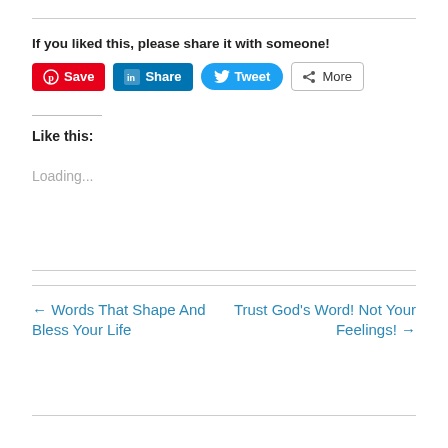If you liked this, please share it with someone!
[Figure (screenshot): Social sharing buttons: Pinterest Save, LinkedIn Share, Twitter Tweet, More]
Like this:
Loading...
← Words That Shape And Bless Your Life
Trust God's Word! Not Your Feelings! →